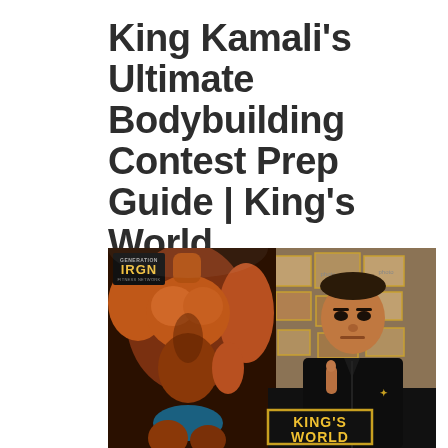King Kamali's Ultimate Bodybuilding Contest Prep Guide | King's World
[Figure (photo): Composite image showing a muscular bodybuilder on the left side posing on stage with a dark background, and on the right King Kamali in a black jacket pointing upward with framed photos on the wall behind him. A 'KING'S WORLD' banner appears at the bottom and a 'Generation Iron' logo in the top left corner.]